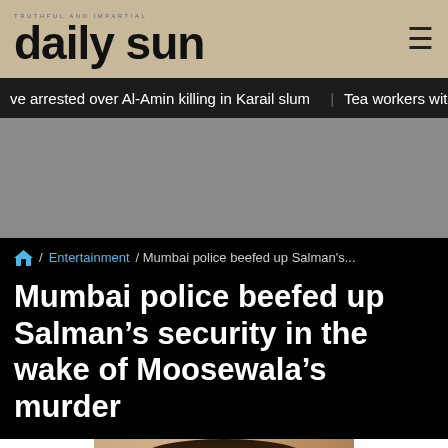daily sun
ve arrested over Al-Amin killing in Karail slum   Tea workers withdr
[Figure (other): Gray advertisement placeholder area]
/ Entertainment / Mumbai police beefed up Salman's...
Mumbai police beefed up Salman's security in the wake of Moosewala's murder
[Figure (photo): Photo of Salman Khan against a blue background]